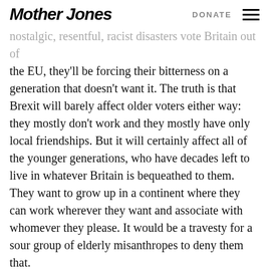Mother Jones  DONATE
nostalgic, resentful, racist disasters vote Britain out of the EU, they'll be forcing their bitterness on a generation that doesn't want it. The truth is that Brexit will barely affect older voters either way: they mostly don't work and they mostly have only local friendships. But it will certainly affect all of the younger generations, who have decades left to live in whatever Britain is bequeathed to them. They want to grow up in a continent where they can work wherever they want and associate with whomever they please. It would be a travesty for a sour group of elderly misanthropes to deny them that.
WE'VE NEVER BEEN VERY GOOD AT